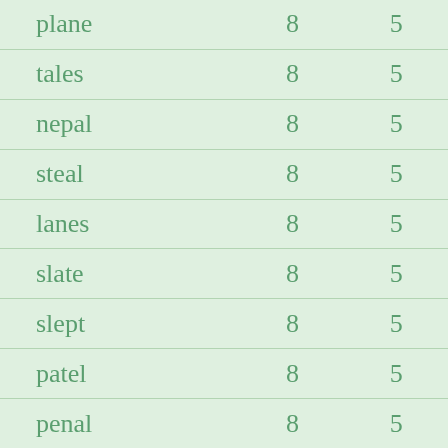| plane | 8 | 5 |
| tales | 8 | 5 |
| nepal | 8 | 5 |
| steal | 8 | 5 |
| lanes | 8 | 5 |
| slate | 8 | 5 |
| slept | 8 | 5 |
| patel | 8 | 5 |
| penal | 8 | 5 |